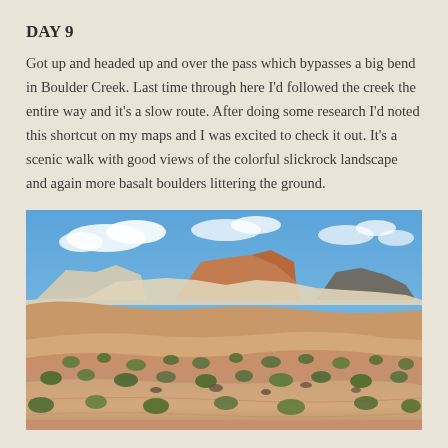DAY 9
Got up and headed up and over the pass which bypasses a big bend in Boulder Creek. Last time through here I'd followed the creek the entire way and it's a slow route. After doing some research I'd noted this shortcut on my maps and I was excited to check it out. It's a scenic walk with good views of the colorful slickrock landscape and again more basalt boulders littering the ground.
[Figure (photo): Panoramic landscape photograph showing red/orange sandstone slickrock formations with sparse desert shrubs and green bushes in the foreground, layered rock buttes and mesas in the middle ground, and a blue sky with scattered white clouds in the background.]